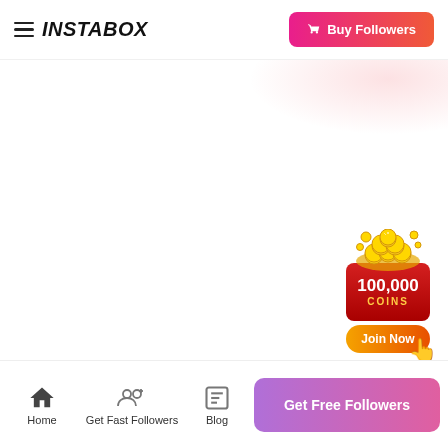INSTABOX — Buy Followers
[Figure (illustration): Coin pile widget showing 100,000 COINS with a red box and orange Join Now button with hand cursor icon]
Home | Get Fast Followers | Blog | Get Free Followers